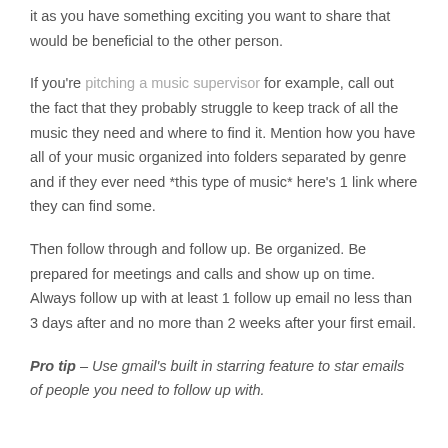it as you have something exciting you want to share that would be beneficial to the other person.
If you're pitching a music supervisor for example, call out the fact that they probably struggle to keep track of all the music they need and where to find it. Mention how you have all of your music organized into folders separated by genre and if they ever need *this type of music* here's 1 link where they can find some.
Then follow through and follow up. Be organized. Be prepared for meetings and calls and show up on time. Always follow up with at least 1 follow up email no less than 3 days after and no more than 2 weeks after your first email.
Pro tip – Use gmail's built in starring feature to star emails of people you need to follow up with.